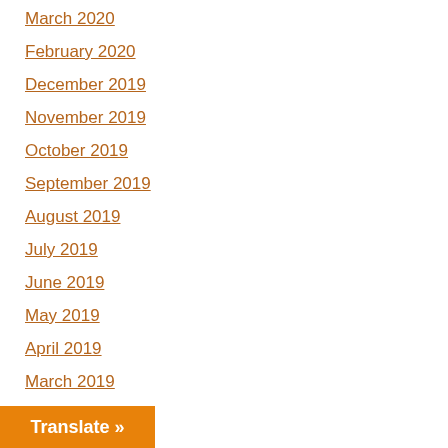March 2020
February 2020
December 2019
November 2019
October 2019
September 2019
August 2019
July 2019
June 2019
May 2019
April 2019
March 2019
February 2019
December 2018
November 2018
October 2018
September 2018
August 2018
Translate »